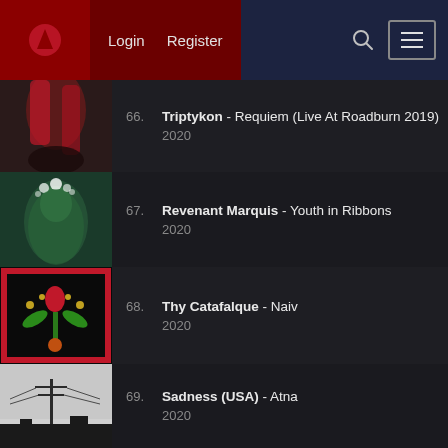Login  Register
66. Triptykon - Requiem (Live At Roadburn 2019) 2020
67. Revenant Marquis - Youth in Ribbons 2020
68. Thy Catafalque - Naiv 2020
69. Sadness (USA) - Atna 2020